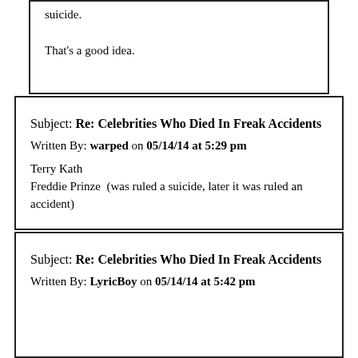suicide.
That's a good idea.
Subject: Re: Celebrities Who Died In Freak Accidents
Written By: warped on 05/14/14 at 5:29 pm
Terry Kath
Freddie Prinze  (was ruled a suicide, later it was ruled an accident)
Subject: Re: Celebrities Who Died In Freak Accidents
Written By: LyricBoy on 05/14/14 at 5:42 pm